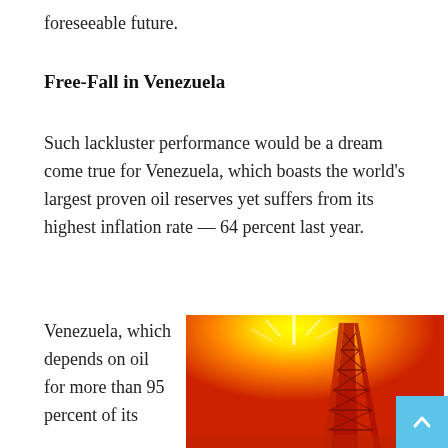foreseeable future.
Free-Fall in Venezuela
Such lackluster performance would be a dream come true for Venezuela, which boasts the world's largest proven oil reserves yet suffers from its highest inflation rate — 64 percent last year.
Venezuela, which depends on oil for more than 95 percent of its
[Figure (photo): Oil drilling tower / derrick silhouetted against a bright orange and yellow sky, suggesting extreme heat or a blazing sun overhead.]